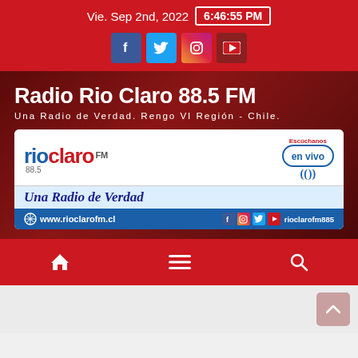Vie. Sep 2nd, 2022  6:46:55 PM
Radio Rio Claro 88.5 FM
Una Radio de Verdad. Rengo VI Región - Chile.
[Figure (logo): Rio Claro FM 88.5 logo banner with website www.rioclarofm.cl and social media handle rioclarofm885]
[Figure (screenshot): Navigation bar with home, menu, and search icons on red background, and grey content area with pink scroll-to-top button]